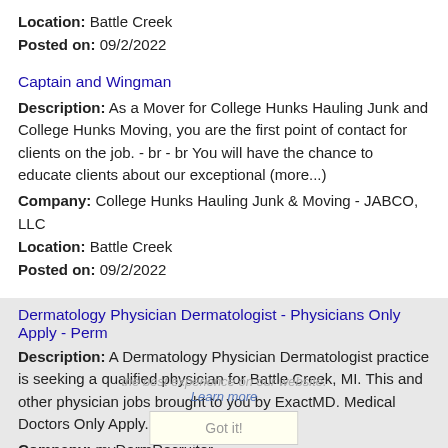Location: Battle Creek
Posted on: 09/2/2022
Captain and Wingman
Description: As a Mover for College Hunks Hauling Junk and College Hunks Moving, you are the first point of contact for clients on the job. - br - br You will have the chance to educate clients about our exceptional (more...)
Company: College Hunks Hauling Junk & Moving - JABCO, LLC
Location: Battle Creek
Posted on: 09/2/2022
Dermatology Physician Dermatologist - Physicians Only Apply - Perm
Description: A Dermatology Physician Dermatologist practice is seeking a qualified physician for Battle Creek, MI. This and other physician jobs brought to you by ExactMD. Medical Doctors Only Apply. br br Battle (more...)
Company: myDermRecruiter
Location: Battle Creek
Posted on: 09/2/2022
Loading more jobs...